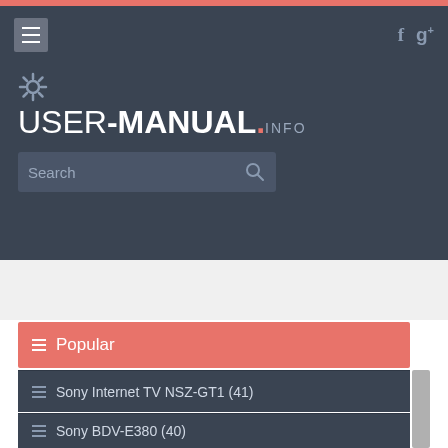[Figure (screenshot): Top navigation bar with hamburger menu icon on left, Facebook 'f' and Google+ 'g+' icons on right, on dark gray background]
[Figure (logo): UserManual.info website logo with gear icon above, text reading USER-MANUAL.INFO in white on dark background, with red dot before INFO]
[Figure (screenshot): Search input box with placeholder text 'Search' and search magnifier icon on right]
Popular
Sony Internet TV NSZ-GT1 (41)
Sony BDV-E380 (40)